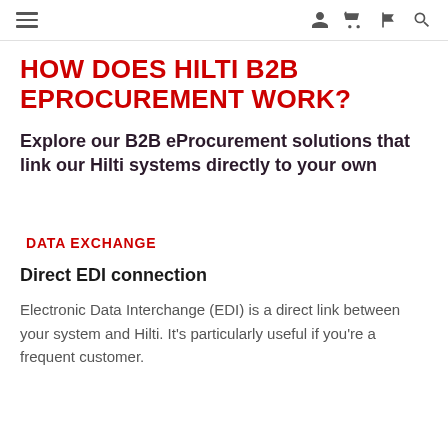Navigation bar with hamburger menu and icons
HOW DOES HILTI B2B EPROCUREMENT WORK?
Explore our B2B eProcurement solutions that link our Hilti systems directly to your own
DATA EXCHANGE
Direct EDI connection
Electronic Data Interchange (EDI) is a direct link between your system and Hilti. It’s particularly useful if you’re a frequent customer.